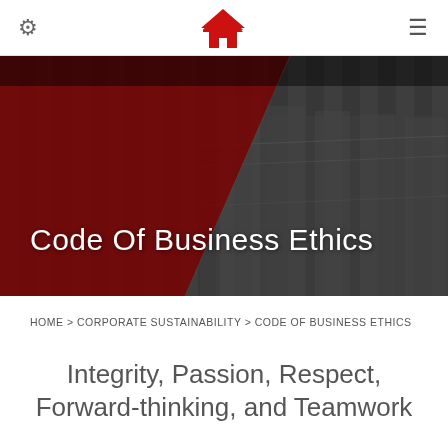[Figure (logo): Red house/roof logo (upward-pointing chevron shape) centered in top navigation bar]
[Figure (photo): Banner hero image showing aerial view of warehouse/industrial buildings. Left half tinted dark red, right half in black and white. Text 'Code Of Business Ethics' overlaid in white.]
HOME > CORPORATE SUSTAINABILITY > CODE OF BUSINESS ETHICS
Integrity, Passion, Respect, Forward-thinking, and Teamwork